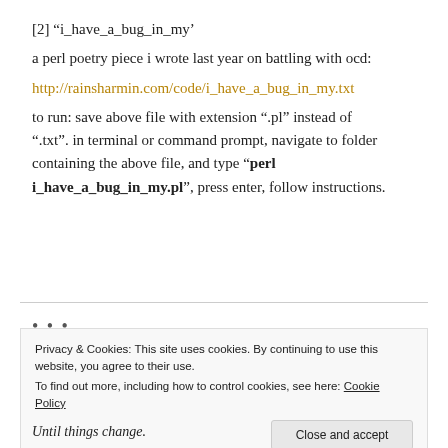[2] “i_have_a_bug_in_my’
a perl poetry piece i wrote last year on battling with ocd:
http://rainsharmin.com/code/i_have_a_bug_in_my.txt
to run: save above file with extension “.pl” instead of “.txt”. in terminal or command prompt, navigate to folder containing the above file, and type “perl i_have_a_bug_in_my.pl”, press enter, follow instructions.
Privacy & Cookies: This site uses cookies. By continuing to use this website, you agree to their use.
To find out more, including how to control cookies, see here: Cookie Policy
Close and accept
Until things change.